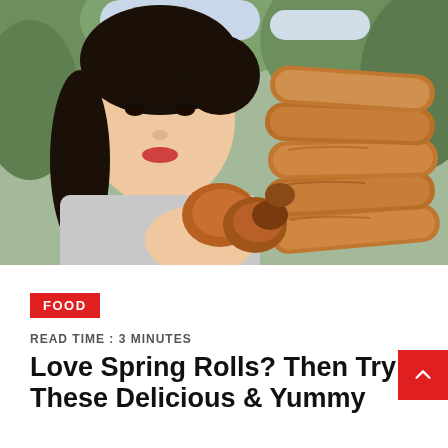[Figure (photo): A young Asian woman smiling and holding a large stack of golden fried spring rolls, with green foliage in the background.]
FOOD
READ TIME : 3 MINUTES
Love Spring Rolls? Then Try These Delicious & Yummy